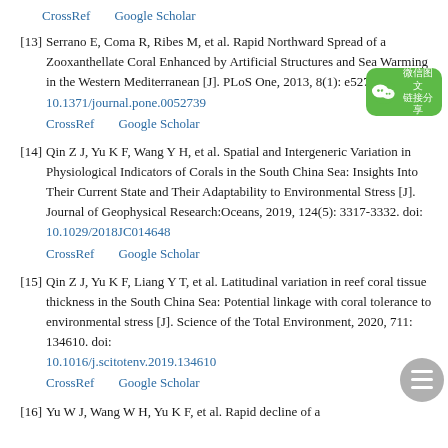CrossRef    Google Scholar
[13] Serrano E, Coma R, Ribes M, et al. Rapid Northward Spread of a Zooxanthellate Coral Enhanced by Artificial Structures and Sea Warming in the Western Mediterranean [J]. PLoS One, 2013, 8(1): e52739. doi: 10.1371/journal.pone.0052739
CrossRef    Google Scholar
[14] Qin Z J, Yu K F, Wang Y H, et al. Spatial and Intergeneric Variation in Physiological Indicators of Corals in the South China Sea: Insights Into Their Current State and Their Adaptability to Environmental Stress [J]. Journal of Geophysical Research:Oceans, 2019, 124(5): 3317-3332. doi: 10.1029/2018JC014648
CrossRef    Google Scholar
[15] Qin Z J, Yu K F, Liang Y T, et al. Latitudinal variation in reef coral tissue thickness in the South China Sea: Potential linkage with coral tolerance to environmental stress [J]. Science of the Total Environment, 2020, 711: 134610. doi: 10.1016/j.scitotenv.2019.134610
CrossRef    Google Scholar
[16] Yu W J, Wang W H, Yu K F, et al. Rapid decline of a